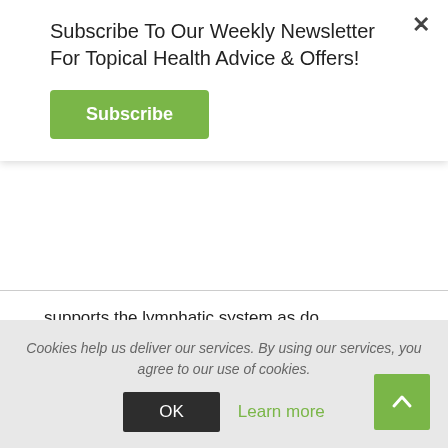Subscribe To Our Weekly Newsletter For Topical Health Advice & Offers!
supports the lymphatic system as do antioxidants that remove toxins.
Increasing Energy Levels
Do you suffer from fatigue, lethargy, nervous exhaustion, slow metabolism? Would you like more energy? A healthy diet is important so eliminate
Cookies help us deliver our services. By using our services, you agree to our use of cookies.